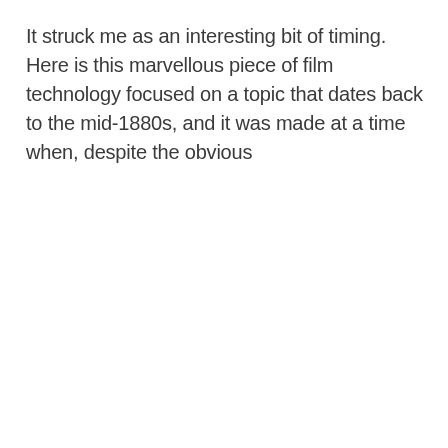It struck me as an interesting bit of timing. Here is this marvellous piece of film technology focused on a topic that dates back to the mid-1880s, and it was made at a time when, despite the obvious